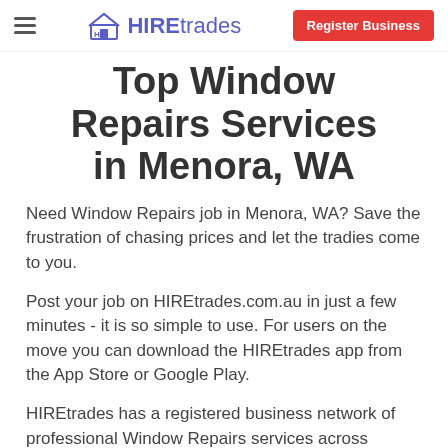HIREtrades — Register Business
Top Window Repairs Services in Menora, WA
Need Window Repairs job in Menora, WA? Save the frustration of chasing prices and let the tradies come to you.
Post your job on HIREtrades.com.au in just a few minutes - it is so simple to use. For users on the move you can download the HIREtrades app from the App Store or Google Play.
HIREtrades has a registered business network of professional Window Repairs services across Australia. We will reach out to local tradies in